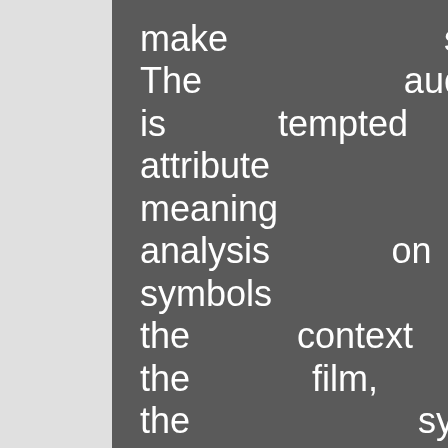make sense. The audience is tempted to attribute a meaning or analysis on these symbols in the context of the film, but the symbols act as universal signs that guide the